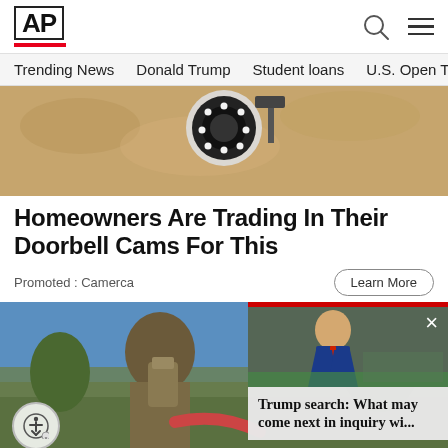AP
Trending News  Donald Trump  Student loans  U.S. Open Tenn
[Figure (photo): Close-up of a doorbell camera device mounted on a textured wall]
Homeowners Are Trading In Their Doorbell Cams For This
Promoted : Camerca
Learn More
[Figure (photo): Military personnel with equipment outdoors; overlaid popup showing Donald Trump with text 'Trump search: What may come next in inquiry wi...']